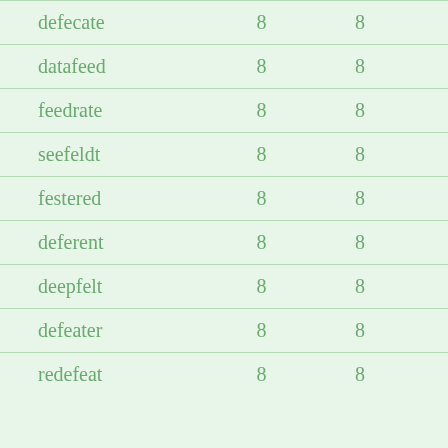| defecate | 8 | 8 |
| datafeed | 8 | 8 |
| feedrate | 8 | 8 |
| seefeldt | 8 | 8 |
| festered | 8 | 8 |
| deferent | 8 | 8 |
| deepfelt | 8 | 8 |
| defeater | 8 | 8 |
| redefeat | 8 | 8 |